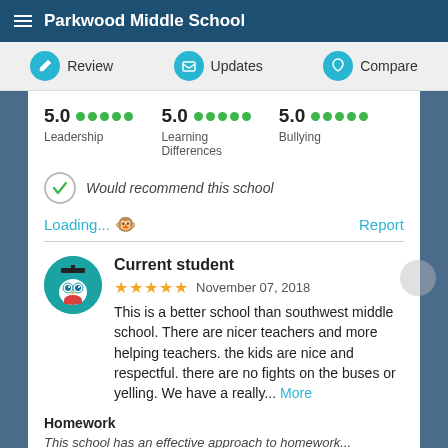Parkwood Middle School
Review  Updates  Compare
5.0 Leadership  5.0 Learning Differences  5.0 Bullying
Would recommend this school
Loading... 🐵   Report
Current student
★★★★★  November 07, 2018
This is a better school than southwest middle school. There are nicer teachers and more helping teachers. the kids are nice and respectful. there are no fights on the buses or yelling. We have a really... More
Homework
This school has an effective approach to homework...